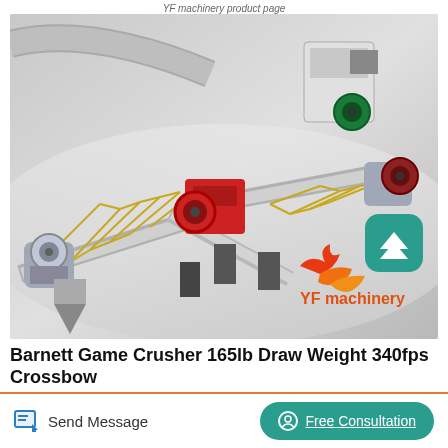YF machinery product page
[Figure (illustration): 3D render of a conveyor/crusher machinery system with multiple belt conveyors, jaw crushers at each end, red motors/drives, gold/yellow support trusses, on a grey background. YF Machinery logo and branding visible in bottom-right of image. A teal scroll-to-top button overlays the image.]
Barnett Game Crusher 165lb Draw Weight 340fps Crossbow
Send Message
Free Consultation